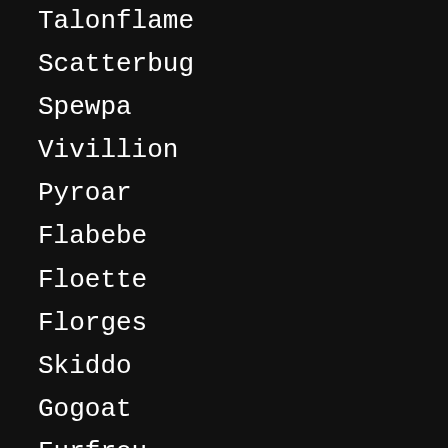Talonflame
Scatterbug
Spewpa
Vivillion
Pyroar
Flabebe
Floette
Florges
Skiddo
Gogoat
Furfrou
Skrelp
Dragalge
Clauncher
Clawitzer
Tyrunt